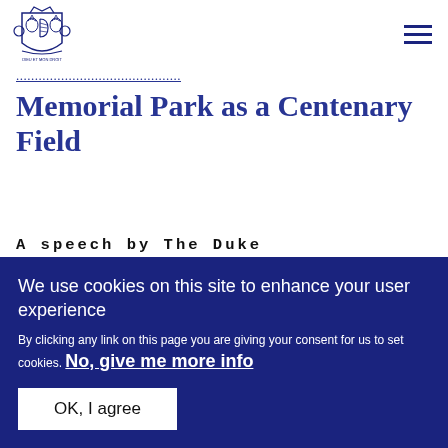[Figure (logo): UK Royal coat of arms logo in blue/gold]
Memorial Park as a Centenary Field
A speech by The Duke of Cambridge at Kensington Memorial Park
We use cookies on this site to enhance your user experience
By clicking any link on this page you are giving your consent for us to set cookies. No, give me more info
OK, I agree